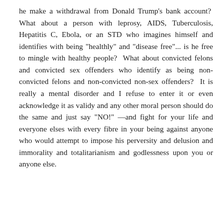he make a withdrawal from Donald Trump's bank account?  What about a person with leprosy, AIDS, Tuberculosis, Hepatitis C, Ebola, or an STD who imagines himself and identifies with being "healthly" and "disease free"... is he free to mingle with healthy people?  What about convicted felons and convicted sex offenders who identify as being non-convicted felons and non-convicted non-sex offenders?  It is really a mental disorder and I refuse to enter it or even acknowledge it as validy and any other moral person should do the same and just say "NO!" —and fight for your life and everyone elses with every fibre in your being against anyone who would attempt to impose his perversity and delusion and immorality and totalitarianism and godlessness upon you or anyone else.